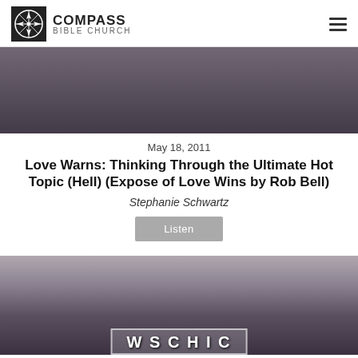[Figure (logo): Compass Bible Church logo with compass rose icon and church name]
[Figure (photo): Group of people standing together, top portion cropped showing torsos and lower bodies]
May 18, 2011
Love Warns: Thinking Through the Ultimate Hot Topic (Hell) (Expose of Love Wins by Rob Bell)
Stephanie Schwartz
[Figure (other): Listen button - gray rectangular button]
[Figure (photo): Group of women wearing hats and sunglasses, smiling outdoors, with partial overlay text at bottom]